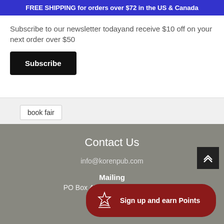FREE SHIPPING for orders over $72 in the US & Canada
Subscribe to our newsletter todayand receive $10 off on your next order over $50
Subscribe
book fair
Contact Us
info@korenpub.com
Mailing
PO Box 4044 Jerusalem 91040
Sign up and earn Points